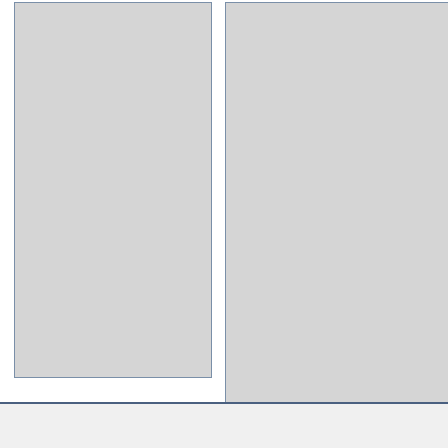[Figure (photo): Left product image placeholder - gray rectangle with border]
[Figure (photo): Right product image placeholder - gray rectangle with border]
Brochure Aston Martin One-77 2009 PDF $6.75
Broch...
Displaying 1 to 11 (of 11 products)